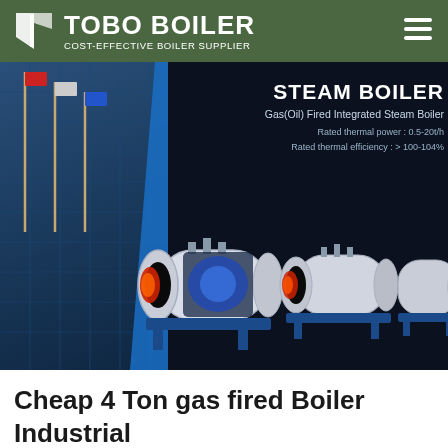TOBO BOILER — COST-EFFECTIVE BOILER SUPPLIER
[Figure (photo): Product advertisement banner showing industrial steam boilers (gas/oil fired integrated steam boiler) against a dark background with a building facade on the left. Text overlay reads: STEAM BOILER, Gas(Oil) Fired Integrated Steam Boiler, Rated thermal power: 0.5-20t/h, Rated thermal efficiency: > 100-104%]
Cheap 4 Ton gas fired Boiler Industrial Latvia